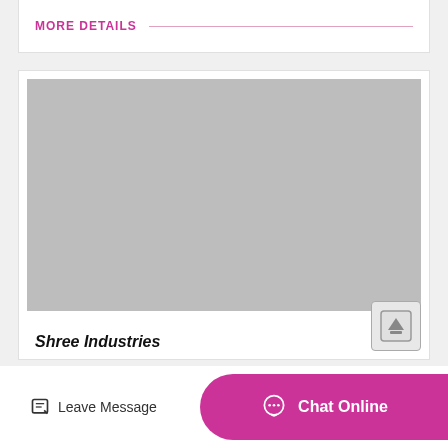MORE DETAILS
[Figure (photo): Large gray placeholder image area with an upload/scroll-to-top button in the bottom right corner]
Shree Industries
Leave Message
Chat Online